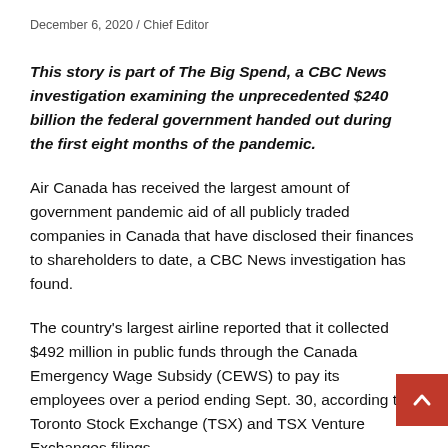December 6, 2020 / Chief Editor
This story is part of The Big Spend, a CBC News investigation examining the unprecedented $240 billion the federal government handed out during the first eight months of the pandemic.
Air Canada has received the largest amount of government pandemic aid of all publicly traded companies in Canada that have disclosed their finances to shareholders to date, a CBC News investigation has found.
The country's largest airline reported that it collected $492 million in public funds through the Canada Emergency Wage Subsidy (CEWS) to pay its employees over a period ending Sept. 30, according to Toronto Stock Exchange (TSX) and TSX Venture Exchanges filings.
According to CBC's findings from information posted